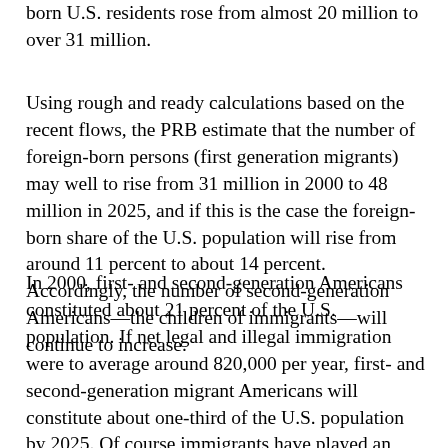born U.S. residents rose from almost 20 million to over 31 million.
Using rough and ready calculations based on the recent flows, the PRB estimate that the number of foreign-born persons (first generation migrants) may well to rise from 31 million in 2000 to 48 million in 2025, and if this is the case the foreign-born share of the U.S. population will rise from around 11 percent to about 14 percent. Accordingly, the number of second-generation Americans—the children of immigrants—will continue to increase.
In 2000, first- and second-generation Americans constituted about 21 percent of the U.S. population. If net legal and illegal immigration were to average around 820,000 per year, first- and second-generation migrant Americans will constitute about one-third of the U.S. population by 2025. Of course immigrants have played an important part in the recent increases in the US labor force simply because they tend to be of working age. Immigrants accounted for nearly 50 percent of the total labor force increase between